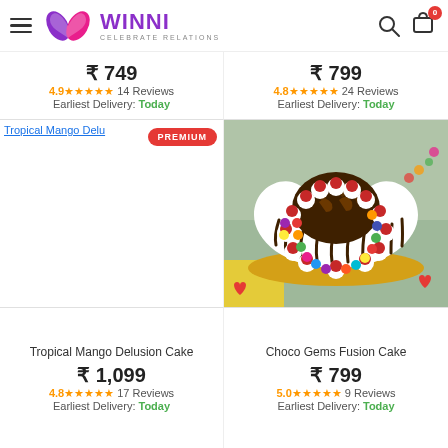WINNI — CELEBRATE RELATIONS
₹ 749
4.9★★★★★ 14 Reviews
Earliest Delivery: Today
₹ 799
4.8★★★★★ 24 Reviews
Earliest Delivery: Today
[Figure (photo): Tropical Mango Delusion Cake product image (broken/not loaded) with PREMIUM badge]
[Figure (photo): Heart-shaped Choco Gems Fusion Cake decorated with colorful chocolate gems, cherries, cream, and chocolate drizzle on a gold board, surrounded by heart decorations]
Tropical Mango Delusion Cake
₹ 1,099
4.8★★★★★ 17 Reviews
Earliest Delivery: Today
Choco Gems Fusion Cake
₹ 799
5.0★★★★★ 9 Reviews
Earliest Delivery: Today